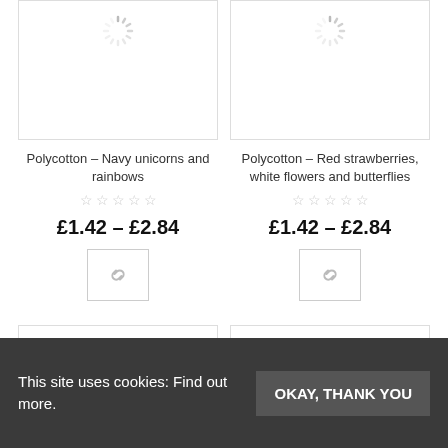[Figure (screenshot): Product image placeholder with loading spinner for Polycotton - Navy unicorns and rainbows]
[Figure (screenshot): Product image placeholder with loading spinner for Polycotton - Red strawberries, white flowers and butterflies]
Polycotton – Navy unicorns and rainbows
Polycotton – Red strawberries, white flowers and butterflies
£1.42 – £2.84
£1.42 – £2.84
[Figure (screenshot): Bottom product card placeholder left]
[Figure (screenshot): Bottom product card placeholder right]
This site uses cookies: Find out more.
OKAY, THANK YOU